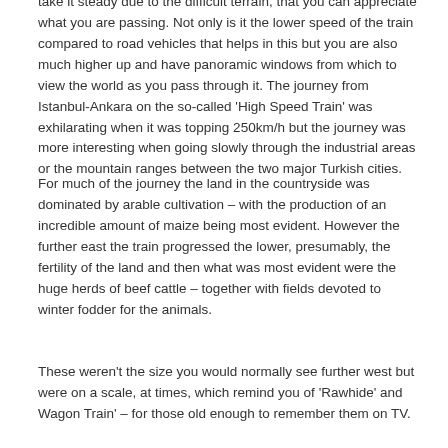take it steady due to the difficult terrain, that you can appreciate what you are passing. Not only is it the lower speed of the train compared to road vehicles that helps in this but you are also much higher up and have panoramic windows from which to view the world as you pass through it. The journey from Istanbul-Ankara on the so-called 'High Speed Train' was exhilarating when it was topping 250km/h but the journey was more interesting when going slowly through the industrial areas or the mountain ranges between the two major Turkish cities.
For much of the journey the land in the countryside was dominated by arable cultivation – with the production of an incredible amount of maize being most evident. However the further east the train progressed the lower, presumably, the fertility of the land and then what was most evident were the huge herds of beef cattle – together with fields devoted to winter fodder for the animals.
These weren't the size you would normally see further west but were on a scale, at times, which remind you of 'Rawhide' and Wagon Train' – for those old enough to remember them on TV.